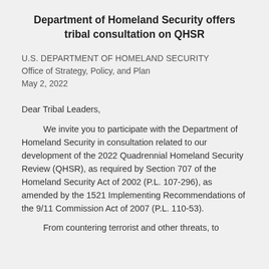Department of Homeland Security offers tribal consultation on QHSR
U.S. DEPARTMENT OF HOMELAND SECURITY
Office of Strategy, Policy, and Plan
May 2, 2022
Dear Tribal Leaders,
We invite you to participate with the Department of Homeland Security in consultation related to our development of the 2022 Quadrennial Homeland Security Review (QHSR), as required by Section 707 of the Homeland Security Act of 2002 (P.L. 107-296), as amended by the 1521 Implementing Recommendations of the 9/11 Commission Act of 2007 (P.L. 110-53).
From countering terrorist and other threats, to